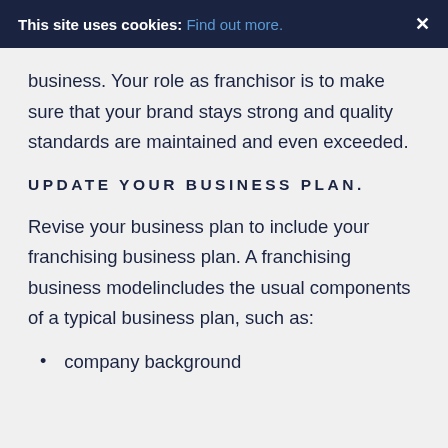This site uses cookies: Find out more. ×
business. Your role as franchisor is to make sure that your brand stays strong and quality standards are maintained and even exceeded.
UPDATE YOUR BUSINESS PLAN.
Revise your business plan to include your franchising business plan. A franchising business modelincludes the usual components of a typical business plan, such as:
company background